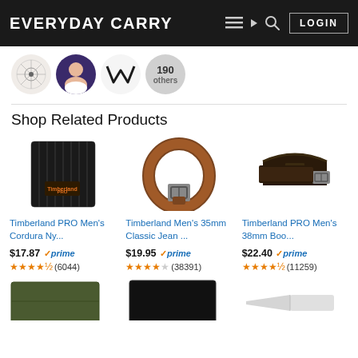EVERYDAY CARRY
[Figure (screenshot): Avatar strip with user profile images and '190 others' badge]
Shop Related Products
[Figure (photo): Timberland PRO Men's Cordura Ny... - black wallet product image]
Timberland PRO Men's Cordura Ny...
$17.87 ✓prime
★★★★½ (6044)
[Figure (photo): Timberland Men's 35mm Classic Jean ... - brown leather belt product image]
Timberland Men's 35mm Classic Jean ...
$19.95 ✓prime
★★★★½ (38391)
[Figure (photo): Timberland PRO Men's 38mm Boo... - dark brown belt product image]
Timberland PRO Men's 38mm Boo...
$22.40 ✓prime
★★★★½ (11259)
[Figure (photo): Bottom row partial product images: wallet, black wallet, utility tool]